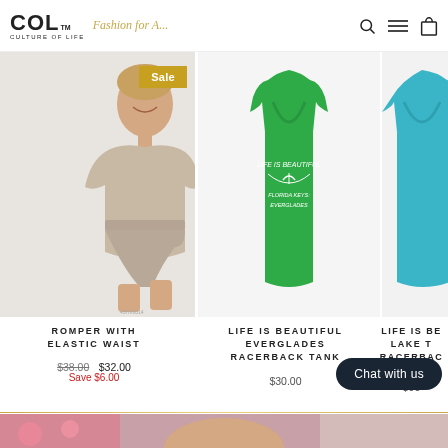[Figure (screenshot): COL Culture of Life website header with logo and navigation icons (search, menu, cart)]
[Figure (photo): Romper with elastic waist product photo, woman wearing taupe/beige romper, Sale badge in gold]
ROMPER WITH ELASTIC WAIST
$38.00 $32.00 Save $6.00
[Figure (photo): Life is Beautiful Everglades Racerback Tank, green tank top with graphic]
LIFE IS BEAUTIFUL EVERGLADES RACERBACK TANK
$30.00
[Figure (photo): Life is Beautiful Lake T Racerback tank (partially visible, cropped on right edge)]
LIFE IS BE LAKE T RACERBAC
$30
Chat with us
[Figure (photo): Partial view of woman's face with pink flowers in background, bottom of page]